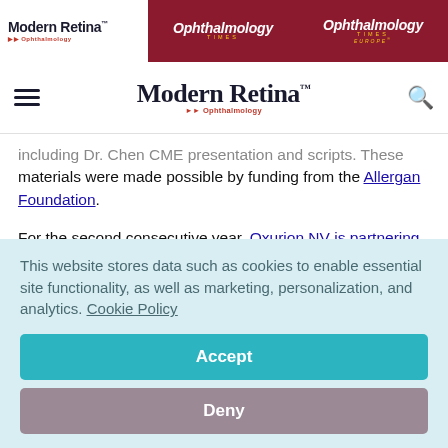Modern Retina from Ophthalmology | Ophthalmology Times | Ophthalmology Times Europe
[Figure (logo): Modern Retina from Ophthalmology navigation logo with hamburger menu and search icon]
including Dr. Chen CME presentation and scripts. These materials were made possible by funding from the Allergan Foundation.
For the second consecutive year, Oxurion NV is partnering with Prevent Blindness to raise awareness and provide education to the public...
This website stores data such as cookies to enable essential site functionality, as well as marketing, personalization, and analytics. Cookie Policy
Accept
Deny